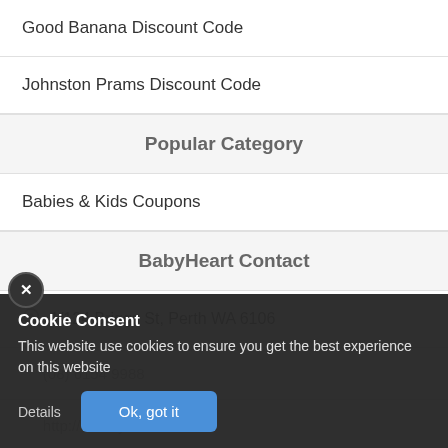Good Banana Discount Code
Johnston Prams Discount Code
Popular Category
Babies & Kids Coupons
BabyHeart Contact
1/124 Briggs St, Perth WA 6106
(08) 6154 9988
http://...babyheart.com.au/
Cookie Consent
This website use cookies to ensure you get the best experience on this website
Details  Ok, got it